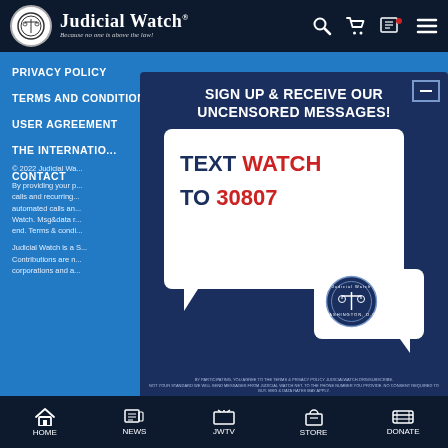Judicial Watch — Because no one is above the law!
PRIVACY POLICY
TERMS AND CONDITIONS
USER AGREEMENT
THE INTERNATIO...
CONTACT
© 2022 Judicial Wa...
By providing your p... calls and recurring... automated calls an... Watch. Msg&data r... end. Terms & condi...
Judicial Watch is a S... Contributions are n... corporations and a...
[Figure (infographic): Sign up popup with text: SIGN UP & RECEIVE OUR UNCENSORED MESSAGES! with SMS chat bubbles showing TEXT WATCH TO 30807 and Judicial Watch seal logo]
HOME | NEWS | JWTV | STORE | DONATE